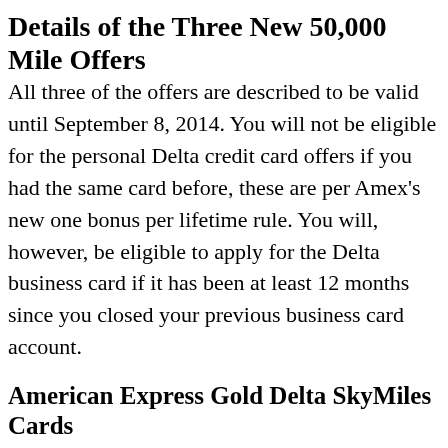Details of the Three New 50,000 Mile Offers
All three of the offers are described to be valid until September 8, 2014. You will not be eligible for the personal Delta credit card offers if you had the same card before, these are per Amex’s new one bonus per lifetime rule. You will, however, be eligible to apply for the Delta business card if it has been at least 12 months since you closed your previous business card account.
American Express Gold Delta SkyMiles Cards
Both the personal and business American Express Gold Delta SkyMiles Cards are offering a bonus of 50,000 SkyMiles